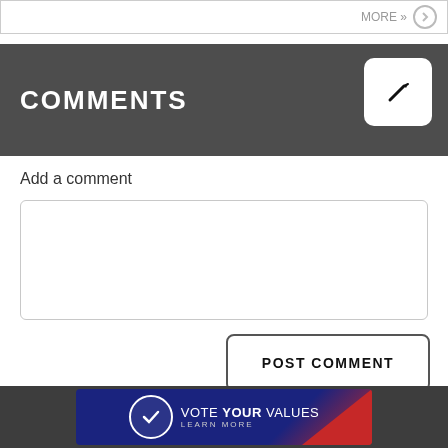MORE »
COMMENTS
Add a comment
[Figure (screenshot): Empty comment text input area box]
POST COMMENT
[Figure (infographic): Vote Your Values - Learn More banner with checkmark logo on dark blue and red background]